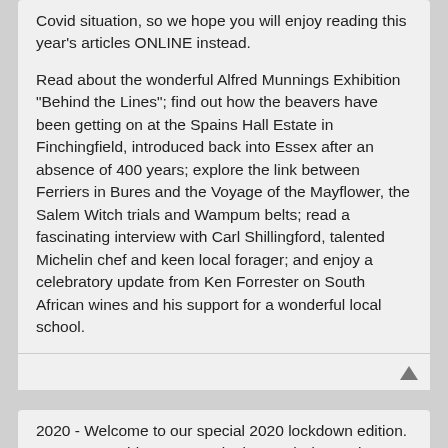Covid situation, so we hope you will enjoy reading this year's articles ONLINE instead.

Read about the wonderful Alfred Munnings Exhibition "Behind the Lines"; find out how the beavers have been getting on at the Spains Hall Estate in Finchingfield, introduced back into Essex after an absence of 400 years; explore the link between Ferriers in Bures and the Voyage of the Mayflower, the Salem Witch trials and Wampum belts; read a fascinating interview with Carl Shillingford, talented Michelin chef and keen local forager; and enjoy a celebratory update from Ken Forrester on South African wines and his support for a wonderful local school.
2020 - Welcome to our special 2020 lockdown edition. We were unable to go to print in March due to the Covid situation, so we hope you will enjoy reading this